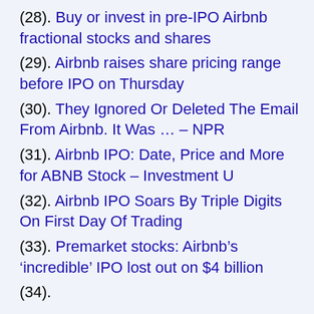(28). Buy or invest in pre-IPO Airbnb fractional stocks and shares
(29). Airbnb raises share pricing range before IPO on Thursday
(30). They Ignored Or Deleted The Email From Airbnb. It Was … – NPR
(31). Airbnb IPO: Date, Price and More for ABNB Stock – Investment U
(32). Airbnb IPO Soars By Triple Digits On First Day Of Trading
(33). Premarket stocks: Airbnb’s ‘incredible’ IPO lost out on $4 billion
(34). Airbnb IPO…